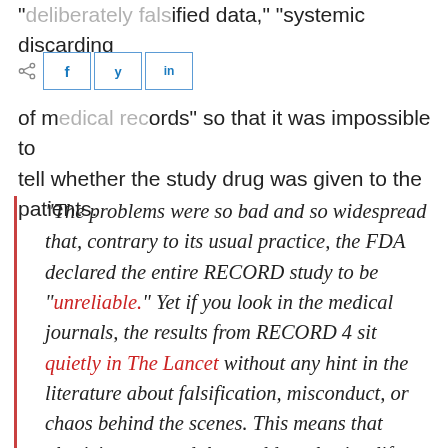"deliberately falsified data," "systemic discarding of medical records" so that it was impossible to tell whether the study drug was given to the patients.
"The problems were so bad and so widespread that, contrary to its usual practice, the FDA declared the entire RECORD study to be "unreliable." Yet if you look in the medical journals, the results from RECORD 4 sit quietly in The Lancet without any hint in the literature about falsification, misconduct, or chaos behind the scenes. This means that physicians around the world are basing life-and-death medical decisions on a study that